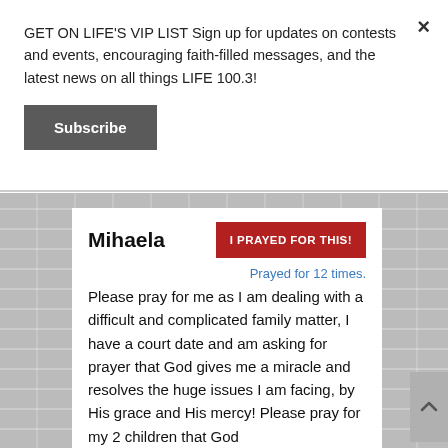GET ON LIFE'S VIP LIST Sign up for updates on contests and events, encouraging faith-filled messages, and the latest news on all things LIFE 100.3!
Subscribe
Mihaela
I PRAYED FOR THIS!
Prayed for 12 times.
Please pray for me as I am dealing with a difficult and complicated family matter, I have a court date and am asking for prayer that God gives me a miracle and resolves the huge issues I am facing, by His grace and His mercy! Please pray for my 2 children that God